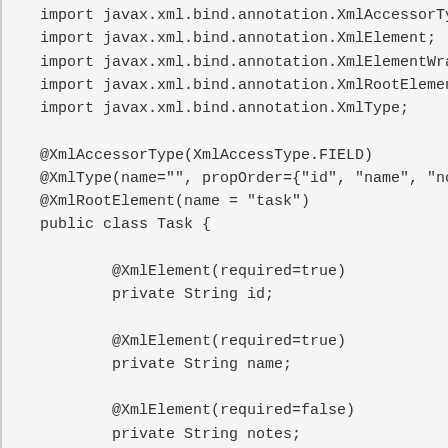import javax.xml.bind.annotation.XmlAccessorTy
import javax.xml.bind.annotation.XmlElement;
import javax.xml.bind.annotation.XmlElementWrap
import javax.xml.bind.annotation.XmlRootElement
import javax.xml.bind.annotation.XmlType;

@XmlAccessorType(XmlAccessType.FIELD)
@XmlType(name="", propOrder={"id", "name", "no
@XmlRootElement(name = "task")
public class Task {

        @XmlElement(required=true)
        private String id;

        @XmlElement(required=true)
        private String name;

        @XmlElement(required=false)
        private String notes;

        @XmlElementWrapper(name="tags", require
        @XmlElement(required=false, name="tag"
        private List<Tag> tags = new ArrayList

        // Getters and Setters